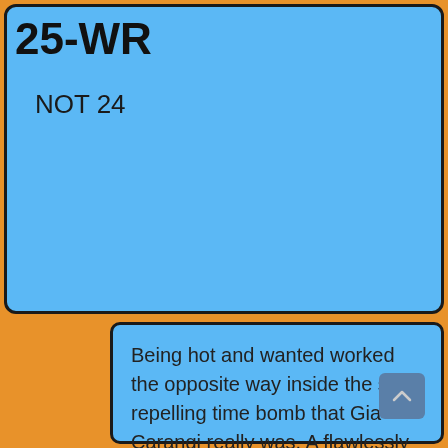25-WR
NOT 24
Being hot and wanted worked the opposite way inside the self-repelling time bomb that Gia Carangi really was. A flawlessly executed plead for caution.